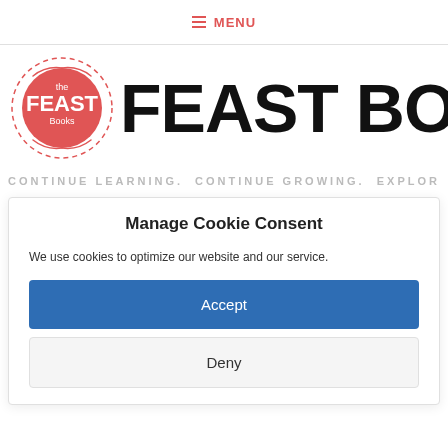≡ MENU
[Figure (logo): The Feast Books circular logo with red background and white text, alongside large bold text reading FEAST BOO (cropped)]
CONTINUE LEARNING. CONTINUE GROWING. EXPLOR
Manage Cookie Consent
We use cookies to optimize our website and our service.
Accept
Deny